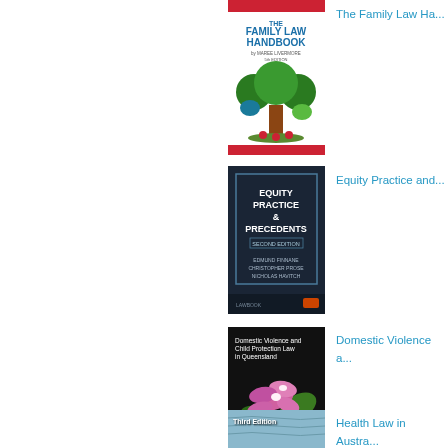[Figure (photo): Book cover: The Family Law Handbook by Maree Livermore, featuring a colourful tree illustration on white background with red header bar]
The Family Law Ha...
[Figure (photo): Book cover: Equity Practice & Precedents, Second Edition by Edmund Finnane, Christopher Prose, Nicholas Havitich — dark navy blue cover with border frame]
Equity Practice and...
[Figure (photo): Book cover: Domestic Violence and Child Protection Law in Queensland — black cover with pink orchid flower photograph]
Domestic Violence a...
[Figure (photo): Book cover: Health Law in Austra... — light blue/teal cover]
Health Law in Austra...